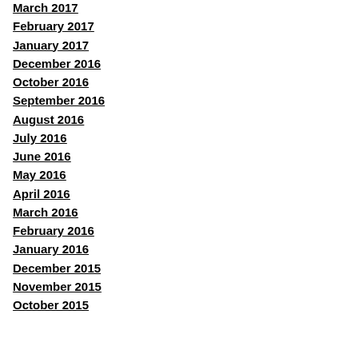March 2017
February 2017
January 2017
December 2016
October 2016
September 2016
August 2016
July 2016
June 2016
May 2016
April 2016
March 2016
February 2016
January 2016
December 2015
November 2015
October 2015